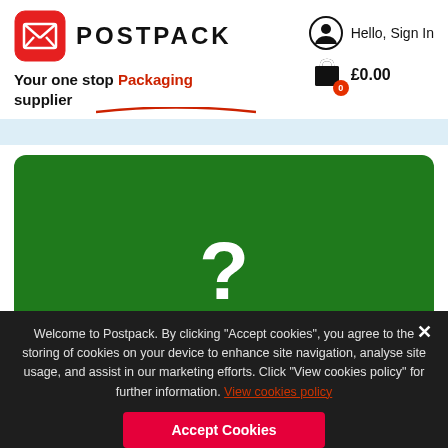[Figure (logo): PostPack logo: red rounded square with white X envelope icon, followed by bold text POSTPACK]
Your one stop Packaging supplier
Hello, Sign In
£0.00
[Figure (illustration): Dark green rounded rectangle banner with large white question mark icon and FAQ label at bottom]
FAQ
Welcome to Postpack. By clicking "Accept cookies", you agree to the storing of cookies on your device to enhance site navigation, analyse site usage, and assist in our marketing efforts. Click "View cookies policy" for further information. View cookies policy
Accept Cookies